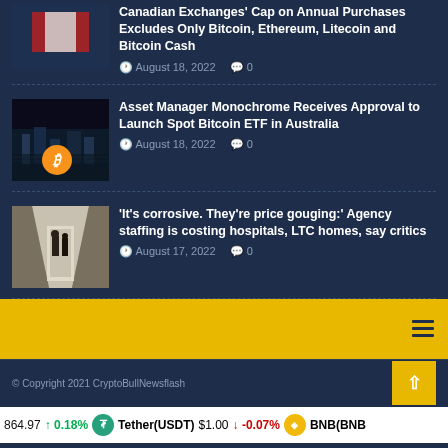Canadian Exchanges' Cap on Annual Purchases Excludes Only Bitcoin, Ethereum, Litecoin and Bitcoin Cash — August 18, 2022 · 0
Asset Manager Monochrome Receives Approval to Launch Spot Bitcoin ETF in Australia — August 18, 2022 · 0
'It's corrosive. They're price gouging:' Agency staffing is costing hospitals, LTC homes, say critics — August 17, 2022 · 0
© Copyright 2021 CryptoBullNewsflash
864.97 ↑ 0.18%   Tether(USDT) $1.00 ↓ -0.07%   BNB(BNB